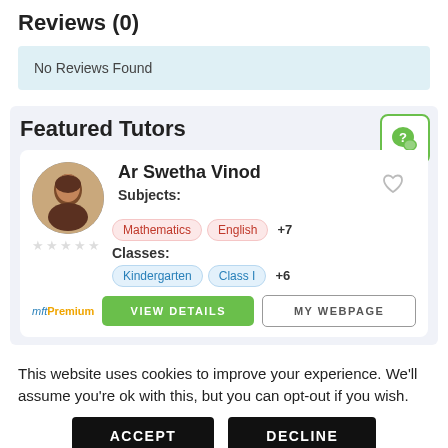Reviews (0)
No Reviews Found
Featured Tutors
Ar Swetha Vinod
Subjects: Mathematics English +7
Classes: Kindergarten Class I +6
mftPremium  VIEW DETAILS  MY WEBPAGE
This website uses cookies to improve your experience. We'll assume you're ok with this, but you can opt-out if you wish.
ACCEPT  DECLINE